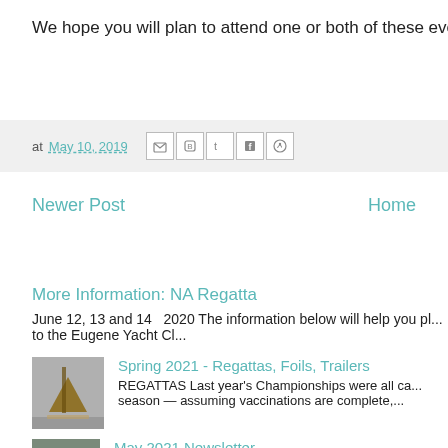We hope you will plan to attend one or both of these events th
at May 10, 2019
Newer Post
Home
More Information: NA Regatta
June 12, 13 and 14   2020 The information below will help you pl... to the Eugene Yacht Cl...
[Figure (photo): Thumbnail image of a sailboat hull or foil component]
Spring 2021 - Regattas, Foils, Trailers
REGATTAS Last year's Championships were all ca... season — assuming vaccinations are complete,...
[Figure (photo): Thumbnail image partially visible at bottom of page]
May 2021 Newsletter